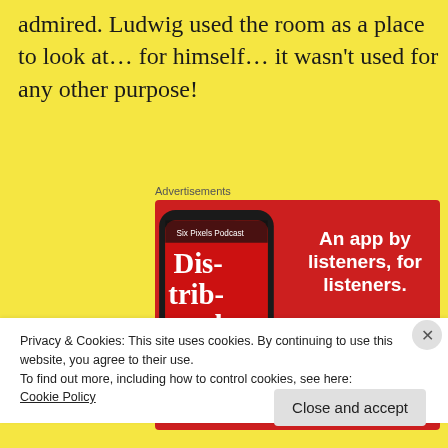admired. Ludwig used the room as a place to look at… for himself… it wasn't used for any other purpose!
Advertisements
[Figure (screenshot): Advertisement banner showing a smartphone app. Red background with white bold text 'An app by listeners, for listeners.' and a 'Download now' button. Phone shows 'Dis-trib-uted' podcast app.]
Privacy & Cookies: This site uses cookies. By continuing to use this website, you agree to their use.
To find out more, including how to control cookies, see here:
Cookie Policy
Close and accept